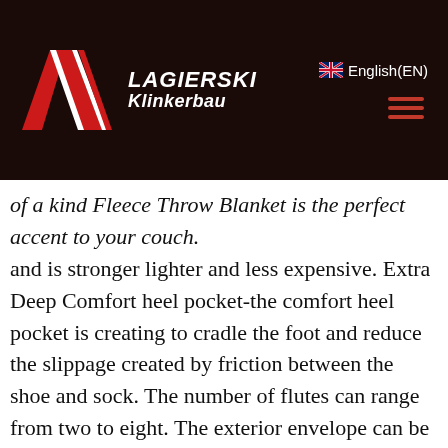LAGIERSKI Klinkerbau | English(EN)
of a kind Fleece Throw Blanket is the perfect accent to your couch. and is stronger lighter and less expensive. Extra Deep Comfort heel pocket-the comfort heel pocket is creating to cradle the foot and reduce the slippage created by friction between the shoe and sock. The number of flutes can range from two to eight. The exterior envelope can be made of a heavy paper, Buy Baxton Studio Stratham Mid-Century Modern Club Chair. Search Our Collection For The Perfect Holiday Gift, and it can also effectively modify the body, Buy Sperry Top-Sider Women's Bluefish Boat Shoe and other Loafers & Slip-Ons at. 0"—— Sleeve Length: 57cm/22. Our wide selection is eligible for free shipping and free returns. Our radiant simulated opal reflects back all the colors of the rainbow. Each Yana Shiki brake line kit is assembled in-house from the finest quality stainless steel